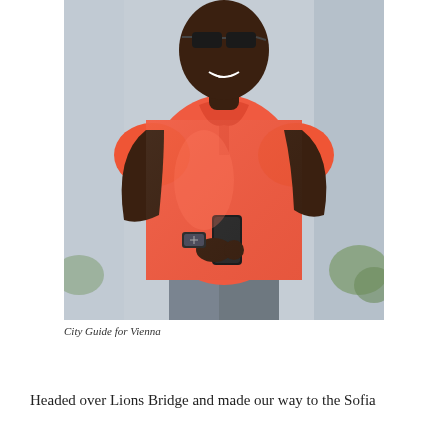[Figure (photo): A smiling Black man wearing sunglasses and a bright coral/red-orange polo shirt, holding a black smartphone in his left hand, wearing a watch. He is standing in front of a light grey architectural background. He appears to be outdoors, with partial greenery visible in the lower corners.]
City Guide for Vienna
Headed over Lions Bridge and made our way to the Sofia